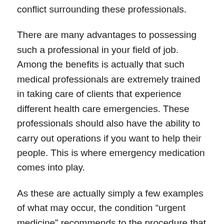conflict surrounding these professionals.
There are many advantages to possessing such a professional in your field of job. Among the benefits is actually that such medical professionals are extremely trained in taking care of clients that experience different health care emergencies. These professionals should also have the ability to carry out operations if you want to help their people. This is where emergency medication comes into play.
As these are actually simply a few examples of what may occur, the condition “urgent medicine” recommends to the procedure that these medical professionals give to individuals who are experiencing a medical unexpected emergency